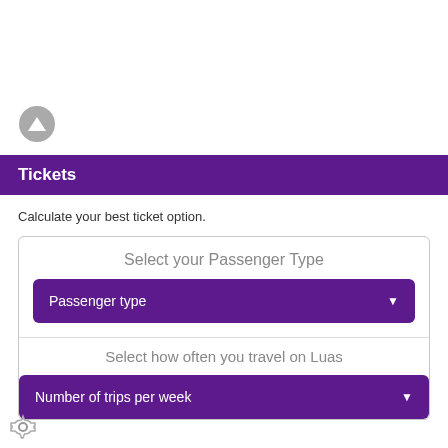[Figure (other): Gray circular up/back arrow button]
Tickets
Calculate your best ticket option.
Select your Passenger Type
Passenger type
Select how often you travel on Luas
Number of trips per week